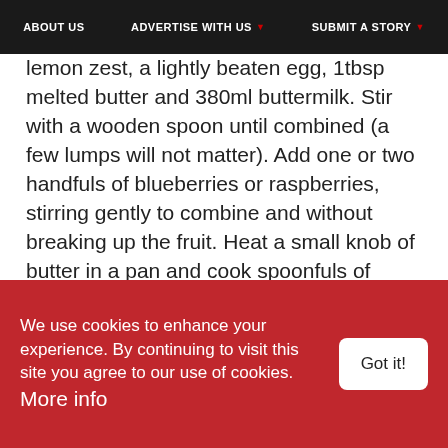ABOUT US   ADVERTISE WITH US ▼   SUBMIT A STORY ▼
lemon zest, a lightly beaten egg, 1tbsp melted butter and 380ml buttermilk. Stir with a wooden spoon until combined (a few lumps will not matter). Add one or two handfuls of blueberries or raspberries, stirring gently to combine and without breaking up the fruit. Heat a small knob of butter in a pan and cook spoonfuls of batter on a low-medium heat for a few minutes on each side or until browned and cooked through. Serve with butter and maple syrup.
[Figure (illustration): Black and white illustration of a hand with pointing finger (manicule/fist pointer graphic)]
We use cookies to enhance your experience. By continuing to visit this site you agree to our use of cookies. More info